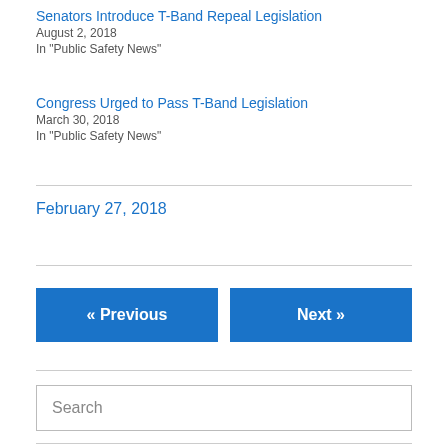Senators Introduce T-Band Repeal Legislation
August 2, 2018
In "Public Safety News"
Congress Urged to Pass T-Band Legislation
March 30, 2018
In "Public Safety News"
February 27, 2018
« Previous
Next »
Search